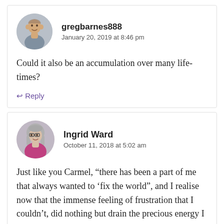gregbarnes888
January 20, 2019 at 8:46 pm
Could it also be an accumulation over many life-times?
Reply
Ingrid Ward
October 11, 2018 at 5:02 am
Just like you Carmel, “there has been a part of me that always wanted to ‘fix the world”, and I realise now that the immense feeling of frustration that I couldn’t, did nothing but drain the precious energy I needed to live in the